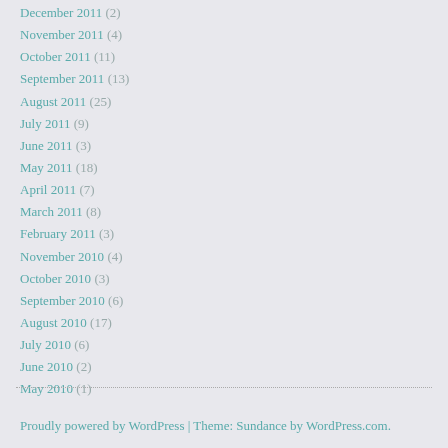December 2011 (2)
November 2011 (4)
October 2011 (11)
September 2011 (13)
August 2011 (25)
July 2011 (9)
June 2011 (3)
May 2011 (18)
April 2011 (7)
March 2011 (8)
February 2011 (3)
November 2010 (4)
October 2010 (3)
September 2010 (6)
August 2010 (17)
July 2010 (6)
June 2010 (2)
May 2010 (1)
Proudly powered by WordPress | Theme: Sundance by WordPress.com.